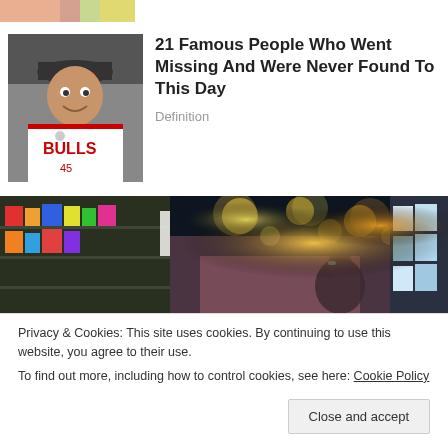[Figure (photo): Partial view of a hand or skin-toned image at the top, cropped]
[Figure (photo): Man wearing a Chicago Bulls basketball jersey and cap, smiling]
21 Famous People Who Went Missing And Were Never Found To This Day
Definition
[Figure (photo): Blurred supermarket/grocery store aisle with bokeh lights and a person in background]
Privacy & Cookies: This site uses cookies. By continuing to use this website, you agree to their use.
To find out more, including how to control cookies, see here: Cookie Policy
Close and accept